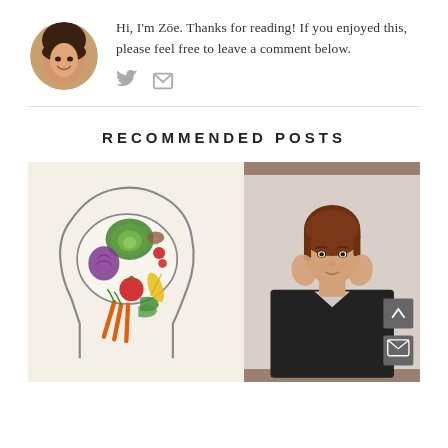[Figure (photo): Circular avatar photo of a woman named Zoe, smiling]
Hi, I'm Zōe. Thanks for reading! If you enjoyed this, please feel free to leave a comment below.
[Figure (illustration): Twitter bird icon and email envelope social media icons]
RECOMMENDED POSTS
[Figure (illustration): Illustration of a human head outline filled with vegetables including cabbage, onion, tomato, corn, carrots, and other produce representing brain food]
[Figure (photo): Photo of an Asian woman in a dark blazer with hands on her cheeks looking worried or stressed]